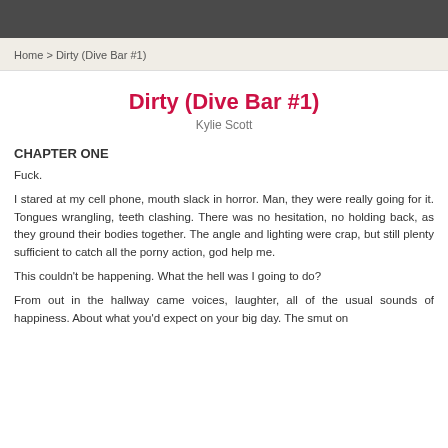Home > Dirty (Dive Bar #1)
Dirty (Dive Bar #1)
Kylie Scott
CHAPTER ONE
Fuck.
I stared at my cell phone, mouth slack in horror. Man, they were really going for it. Tongues wrangling, teeth clashing. There was no hesitation, no holding back, as they ground their bodies together. The angle and lighting were crap, but still plenty sufficient to catch all the porny action, god help me.
This couldn't be happening. What the hell was I going to do?
From out in the hallway came voices, laughter, all of the usual sounds of happiness. About what you'd expect on your big day. The smut on